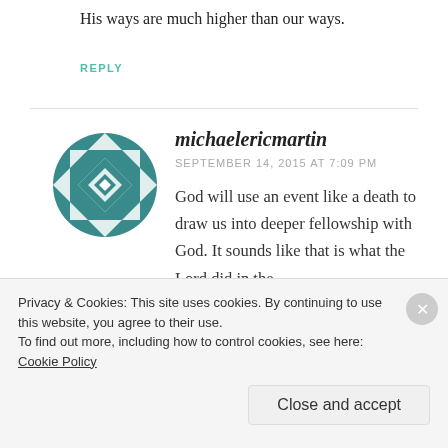His ways are much higher than our ways.
REPLY
[Figure (illustration): Circular decorative avatar icon with teal geometric diamond/triangle pattern]
michaelericmartin
SEPTEMBER 14, 2015 AT 7:09 PM
God will use an event like a death to draw us into deeper fellowship with God. It sounds like that is what the Lord did in the
Privacy & Cookies: This site uses cookies. By continuing to use this website, you agree to their use.
To find out more, including how to control cookies, see here: Cookie Policy
Close and accept